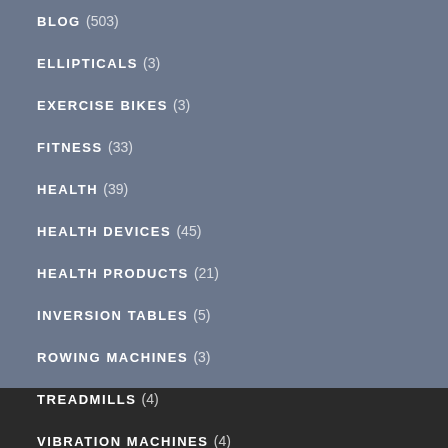BLOG (503)
ELLIPTICALS (3)
EXERCISE BIKES (3)
FITNESS (33)
HEALTH (39)
HEALTH DEVICES (45)
HEALTH PRODUCTS (21)
INVERSION TABLES (5)
ROWING MACHINES (3)
TREADMILLS (4)
VIBRATION MACHINES (4)
WORKOUT BENCH (5)